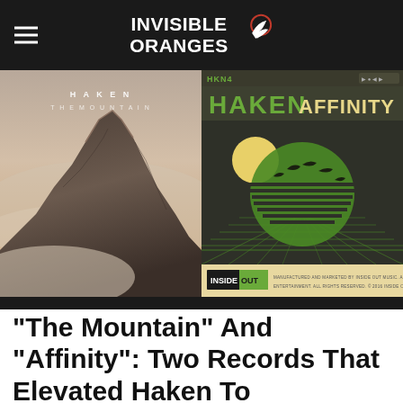INVISIBLE ORANGES
[Figure (photo): Two Haken album covers side by side: left is 'The Mountain' showing a dramatic mountain peak in mist; right is 'Affinity' showing a retro-futuristic green and dark graphic with birds and a grid, with InsideOut Music label at the bottom.]
“The Mountain” And “Affinity”: Two Records That Elevated Haken To Progressive Metal’s Center Stage